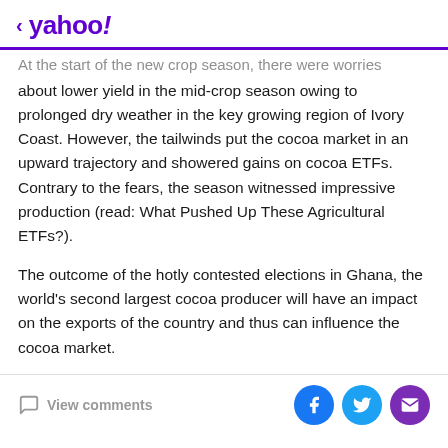< yahoo!
At the start of the new crop season, there were worries about lower yield in the mid-crop season owing to prolonged dry weather in the key growing region of Ivory Coast. However, the tailwinds put the cocoa market in an upward trajectory and showered gains on cocoa ETFs. Contrary to the fears, the season witnessed impressive production (read: What Pushed Up These Agricultural ETFs?).
The outcome of the hotly contested elections in Ghana, the world's second largest cocoa producer will have an impact on the exports of the country and thus can influence the cocoa market.
View comments